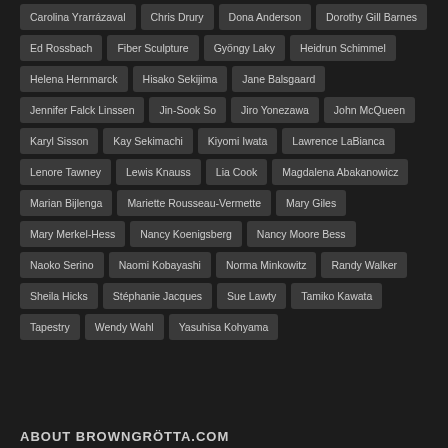Carolina Yrarrázaval
Chris Drury
Dona Anderson
Dorothy Gill Barnes
Ed Rossbach
Fiber Sculpture
Gyöngy Laky
Heidrun Schimmel
Helena Hernmarck
Hisako Sekijima
Jane Balsgaard
Jennifer Falck Linssen
Jin-Sook So
Jiro Yonezawa
John McQueen
Karyl Sisson
Kay Sekimachi
Kiyomi Iwata
Lawrence LaBianca
Lenore Tawney
Lewis Knauss
Lia Cook
Magdalena Abakanowicz
Marian Bijlenga
Mariette Rousseau-Vermette
Mary Giles
Mary Merkel-Hess
Nancy Koenigsberg
Nancy Moore Bess
Naoko Serino
Naomi Kobayashi
Norma Minkowitz
Randy Walker
Sheila Hicks
Stéphanie Jacques
Sue Lawty
Tamiko Kawata
Tapestry
Wendy Wahl
Yasuhisa Kohyama
ABOUT BROWNGRÖTTA.COM